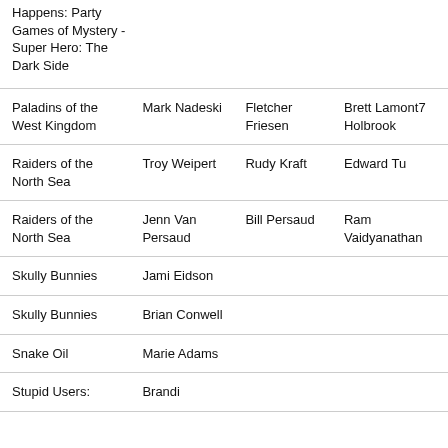| Happens: Party Games of Mystery - Super Hero: The Dark Side |  |  |  |
| Paladins of the West Kingdom | Mark Nadeski | Fletcher Friesen | Brett Lamont7 Holbrook |
| Raiders of the North Sea | Troy Weipert | Rudy Kraft | Edward Tu |
| Raiders of the North Sea | Jenn Van Persaud | Bill Persaud | Ram Vaidyanathan |
| Skully Bunnies | Jami Eidson |  |  |
| Skully Bunnies | Brian Conwell |  |  |
| Snake Oil | Marie Adams |  |  |
| Stupid Users: | Brandi |  |  |